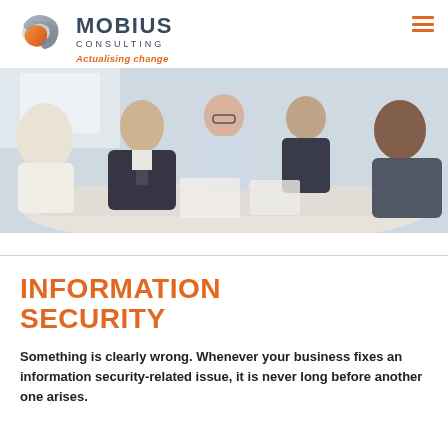MOBIUS CONSULTING — Actualising change
[Figure (photo): Business meeting scene with five professionals seated around a white conference table, smiling and engaged in discussion in a bright office environment.]
INFORMATION SECURITY
Something is clearly wrong. Whenever your business fixes an information security-related issue, it is never long before another one arises.